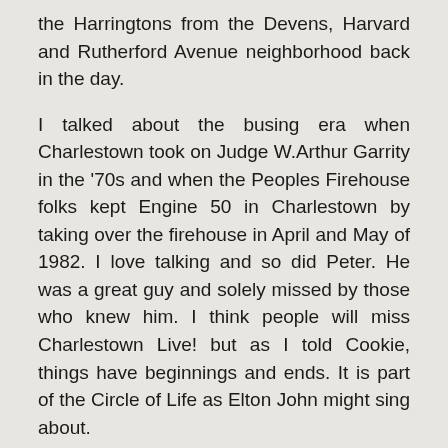the Harringtons from the Devens, Harvard and Rutherford Avenue neighborhood back in the day.
I talked about the busing era when Charlestown took on Judge W.Arthur Garrity in the '70s and when the Peoples Firehouse folks kept Engine 50 in Charlestown by taking over the firehouse in April and May of 1982. I love talking and so did Peter. He was a great guy and solely missed by those who knew him. I think people will miss Charlestown Live! but as I told Cookie, things have beginnings and ends. It is part of the Circle of Life as Elton John might sing about.
I never missed watching the show or talking with Cookie whom I first met years ago when she and I were part of the old Charlestown Patriot. Today, folks still aren't out of the news loop because of Charlestown Patch, Facebook or bloggers out